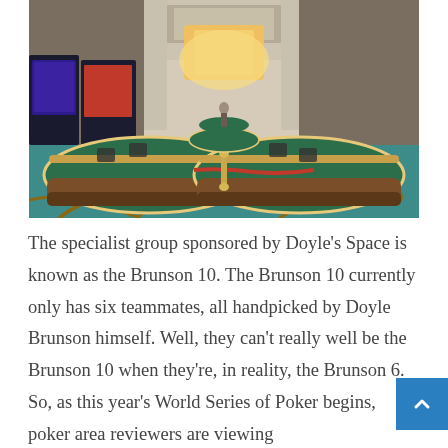[Figure (photo): Interior of a casino showing rows of poker/gaming tables in the foreground with a teal/blue patterned carpet, red velvet rope barriers, slot machines along the walls, and warm pendant lighting in the background creating a long corridor perspective.]
The specialist group sponsored by Doyle's Space is known as the Brunson 10. The Brunson 10 currently only has six teammates, all handpicked by Doyle Brunson himself. Well, they can't really well be the Brunson 10 when they're, in reality, the Brunson 6. So, as this year's World Series of Poker begins, poker area reviewers are viewing